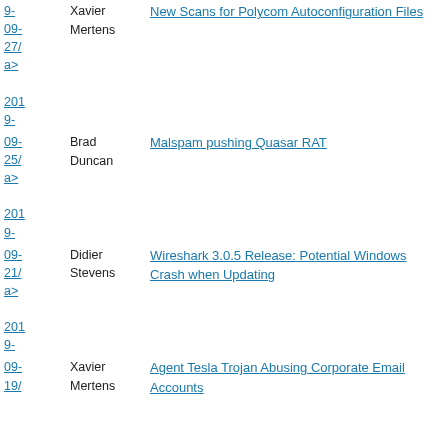| Date | Author | Title |
| --- | --- | --- |
| 2019-09-27/ a> | Xavier Mertens | New Scans for Polycom Autoconfiguration Files |
| 2019-09-25/ a> | Brad Duncan | Malspam pushing Quasar RAT |
| 2019-09-21/ a> | Didier Stevens | Wireshark 3.0.5 Release: Potential Windows Crash when Updating |
| 2019-09-19/ | Xavier Mertens | Agent Tesla Trojan Abusing Corporate Email Accounts |